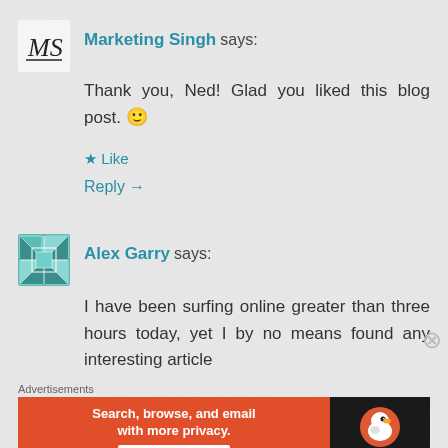Marketing Singh says:
Thank you, Ned! Glad you liked this blog post. 🙂
Like
Reply →
Alex Garry says:
I have been surfing online greater than three hours today, yet I by no means found any interesting article
Advertisements
[Figure (infographic): DuckDuckGo advertisement banner: orange left panel with text 'Search, browse, and email with more privacy.' and 'All in One Free App' button; dark right panel with DuckDuckGo duck logo and DuckDuckGo label]